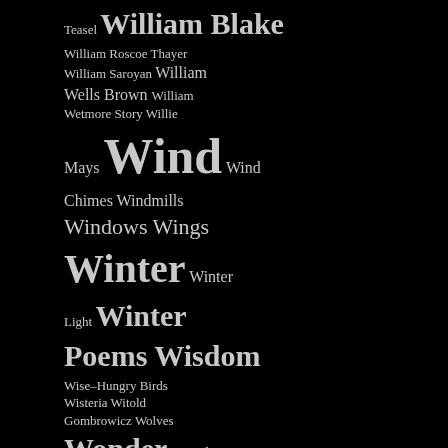Teasel William Blake William Roscoe Thayer William Saroyan William Wells Brown William Wetmore Story Willie Mays Wind Wind Chimes Windmills Windows Wings Winter Winter Light Winter Poems Wisdom Wise-Hungry Birds Wisteria Witold Gombrowicz Wolves Wonder Wooden Clothespins Woodpeckers Wool Socks Words Work Worms Worry Wrens Writers Writers Union of Armenia